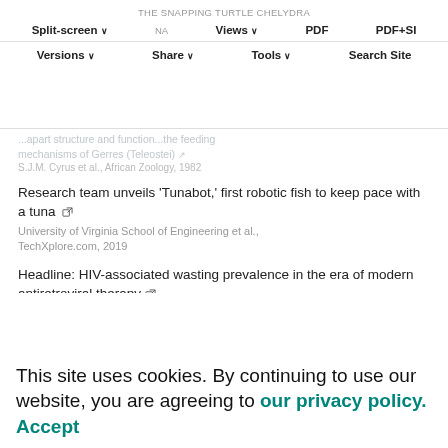THE SNAPPING TURTLE CHELYDRA
Split-screen | Views | PDF | PDF+SI
Versions | Share | Tools | Search Site
...apart structure and function...the feeding mechanisms of Gerres (Teleostei)
S.J.M. Cyrus et al., African Zoology, 1982
Research team unveils 'Tunabot,' first robotic fish to keep pace with a tuna
University of Virginia School of Engineering et al., TechXplore.com, 2019
Headline: HIV-associated wasting prevalence in the era of modern antiretroviral therapy
Javeeda Siddiqui et al., AIDS, 2022
Size does matter – Intraspecific variation of feeding mechanics in the crested newt Triturus dobrogicus (Kiritzescu, 1903)
This site uses cookies. By continuing to use our website, you are agreeing to our privacy policy. Accept